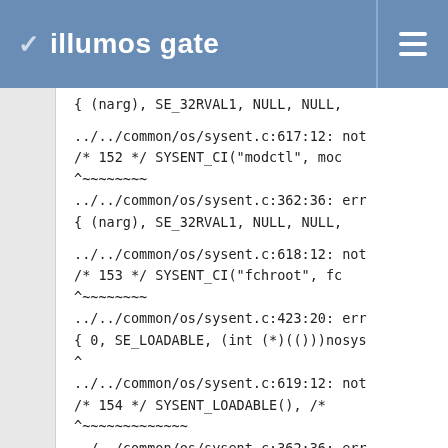illumos gate
{ (narg), SE_32RVAL1, NULL, NULL,

../../common/os/sysent.c:617:12: not
/* 152 */ SYSENT_CI("modctl",  mod
              ^~~~~~~~~
../../common/os/sysent.c:362:36: err
{ (narg), SE_32RVAL1, NULL, NULL,

../../common/os/sysent.c:618:12: not
/* 153 */ SYSENT_CI("fchroot",  fc
              ^~~~~~~~~
../../common/os/sysent.c:423:20: err
{ 0, SE_LOADABLE, (int (*)(()))nosys
                  ^
../../common/os/sysent.c:619:12: not
/* 154 */ SYSENT_LOADABLE(),   /*
              ^~~~~~~~~~~~~~
../../common/os/sysent.c:362:36: err